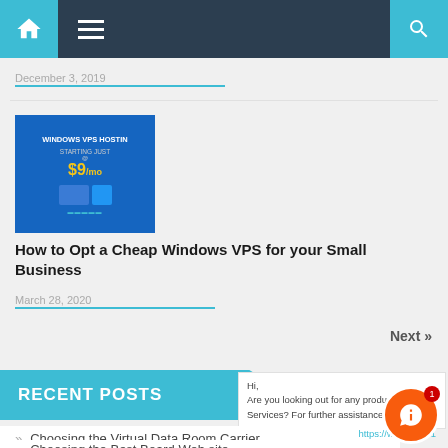Navigation bar with home, menu, and search icons
December 3, 2019
[Figure (screenshot): Windows VPS Hosting promotional image showing starting price of $9/mo]
How to Opt a Cheap Windows VPS for your Small Business
March 28, 2020
Next »
RECENT POSTS
Hi,
Are you looking out for any product or Services? For further assistance
» Choosing the Virtual Data Room Carrier
» Choosing the Best Board Web site